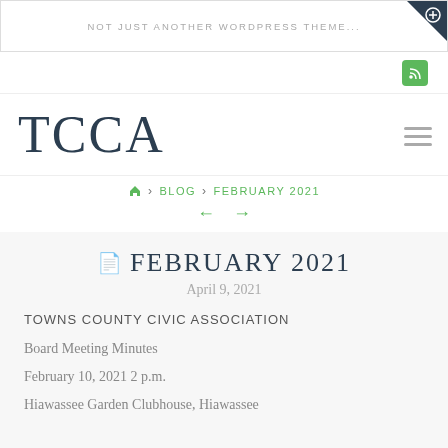NOT JUST ANOTHER WORDPRESS THEME...
TCCA
🏠 › BLOG › FEBRUARY 2021
FEBRUARY 2021
April 9, 2021
TOWNS COUNTY CIVIC ASSOCIATION
Board Meeting Minutes
February 10, 2021 2 p.m.
Hiawassee Garden Clubhouse, Hiawassee